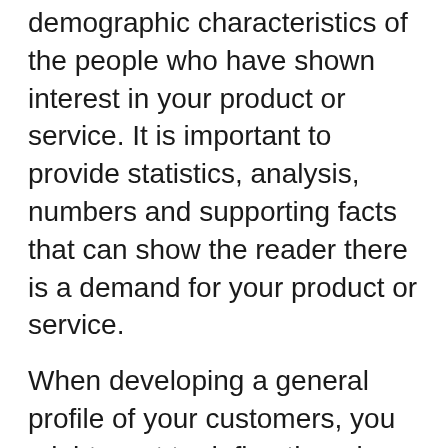demographic characteristics of the people who have shown interest in your product or service. It is important to provide statistics, analysis, numbers and supporting facts that can show the reader there is a demand for your product or service.
When developing a general profile of your customers, you might want to define them by:
Age, usually given in a range (20-35 years)
Gender
Marital status
Location of household
Family size and description